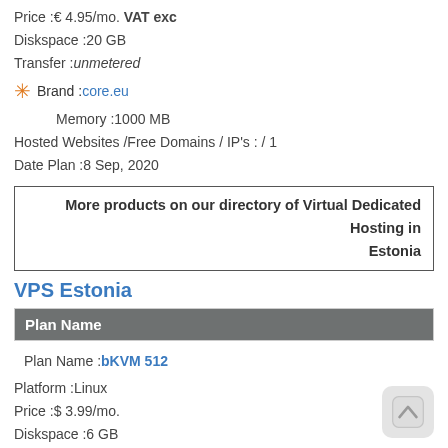Price :€ 4.95/mo. VAT exc
Diskspace :20 GB
Transfer :unmetered
Brand :core.eu
Memory :1000 MB
Hosted Websites /Free Domains / IP's : / 1
Date Plan :8 Sep, 2020
More products on our directory of Virtual Dedicated Hosting in Estonia
VPS Estonia
| Plan Name |
| --- |
Plan Name :bKVM 512
Platform :Linux
Price :$ 3.99/mo.
Diskspace :6 GB
Transfer :unmetered
Brand :bluevps.com